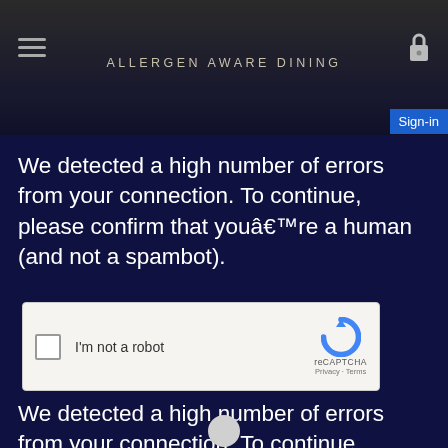ALLERGEN AWARE DINING
We detected a high number of errors from your connection. To continue, please confirm that youâ€™re a human (and not a spambot).
[Figure (other): reCAPTCHA checkbox widget with 'I'm not a robot' label, reCAPTCHA logo, Privacy and Terms links]
We detected a high number of errors from your connection. To continue, please confirm that youâ€™re a human (and not a spambot).